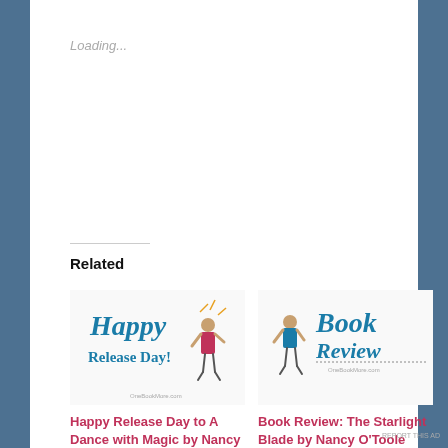Loading...
Related
[Figure (illustration): Happy Release Day! graphic with script text and a small illustrated figure of a woman]
Happy Release Day to A Dance with Magic by Nancy O'Toole!
October 6, 2021
In "Bookish Posts"
[Figure (illustration): Book Review graphic with script text and a small illustrated figure of a woman, with OneBookMore.com branding]
Book Review: The Starlight Blade by Nancy O'Toole
January 20, 2022
In "Fantasy"
Advertisements